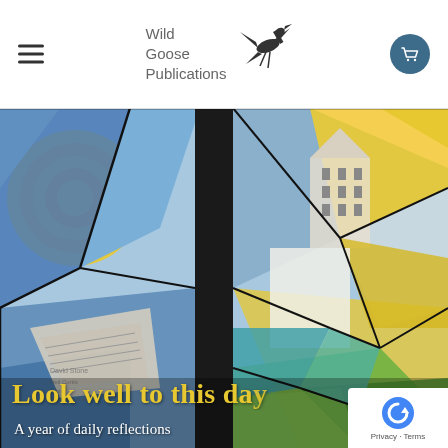Wild Goose Publications
[Figure (illustration): Stained glass artwork showing abstract geometric shapes with colors including blue, yellow, green, teal, and brown, with a large dark vertical element (tree or cross) in the center, and a circular sun-like form on the left. The bottom shows text fragments and the book title 'Look well to this day - A year of daily reflections'.]
Look well to this day
A year of daily reflections